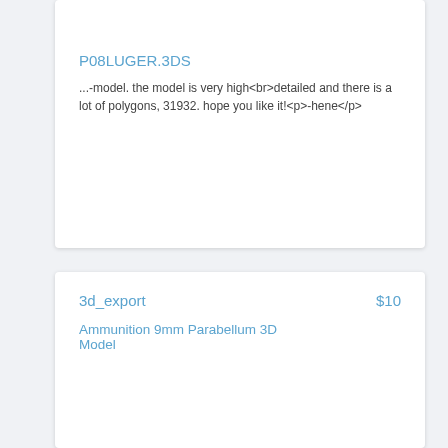P08LUGER.3DS
...-model. the model is very high<br>detailed and there is a lot of polygons, 31932. hope you like it!<p>-hene</p>
3d_export
$10
Ammunition 9mm Parabellum 3D Model